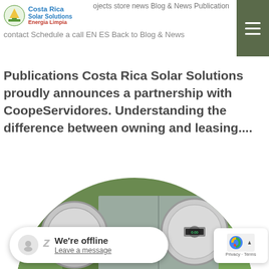Costa Rica Solar Solutions Energia Limpia – projects store news Blog & News Publications contact Schedule a call EN ES Back to Blog & News Publications
Costa Rica Solar Solutions proudly announces a partnership with CoopeServidores. Understanding the difference between owning and leasing....
[Figure (photo): Circular cropped photo showing electrical utility meters and a gray metal electrical panel box mounted on a wall, surrounded by green tropical vegetation. Multiple round electric meters visible — one large on upper left, one on upper right area, and one at the bottom. A beige breaker panel box is visible in the lower center.]
We're offline
Leave a message